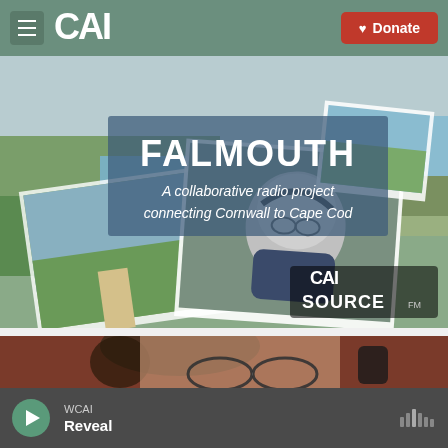CAI | Donate
[Figure (photo): Falmouth collaborative radio project banner with landscape photos, man with headphones, CAI Source FM logo overlay. Text: FALMOUTH - A collaborative radio project connecting Cornwall to Cape Cod]
[Figure (photo): Close-up photo of person wearing headphones and glasses]
WCAI | Reveal (audio player with play button and waveform icon)